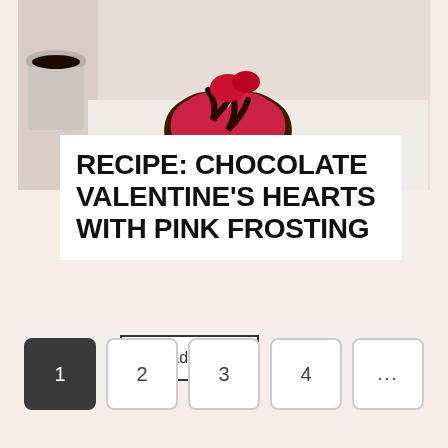[Figure (photo): A heart-shaped chocolate brownie or cake with pink/red frosting and chocolate drizzle, with a small cup of dark liquid (coffee or chocolate sauce) in the background, on a white surface.]
RECIPE: CHOCOLATE VALENTINE'S HEARTS WITH PINK FROSTING
Read More
1  2  3  4  ...